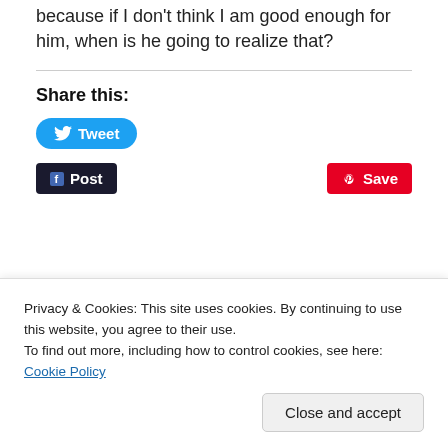because if I don't think I am good enough for him, when is he going to realize that?
Share this:
[Figure (screenshot): Twitter Tweet button (blue rounded), Facebook Post button (dark), Pinterest Save button (red)]
Privacy & Cookies: This site uses cookies. By continuing to use this website, you agree to their use.
To find out more, including how to control cookies, see here: Cookie Policy
Close and accept